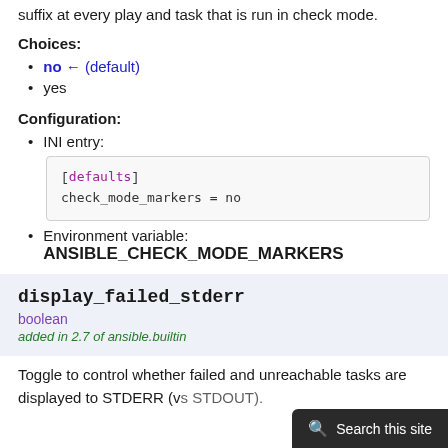suffix at every play and task that is run in check mode.
Choices:
no ← (default)
yes
Configuration:
INI entry:
[defaults]
check_mode_markers = no
Environment variable:
ANSIBLE_CHECK_MODE_MARKERS
display_failed_stderr
boolean
added in 2.7 of ansible.builtin
Toggle to control whether failed and unreachable tasks are displayed to STDERR (vs STDOUT).